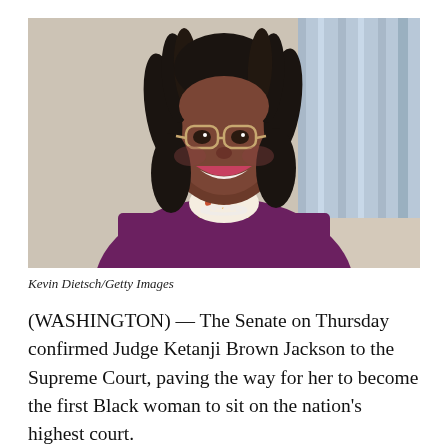[Figure (photo): Portrait photo of Judge Ketanji Brown Jackson smiling, wearing glasses and a purple blazer with a floral blouse and pearl necklace, photographed by Kevin Dietsch/Getty Images.]
Kevin Dietsch/Getty Images
(WASHINGTON) — The Senate on Thursday confirmed Judge Ketanji Brown Jackson to the Supreme Court, paving the way for her to become the first Black woman to sit on the nation's highest court.